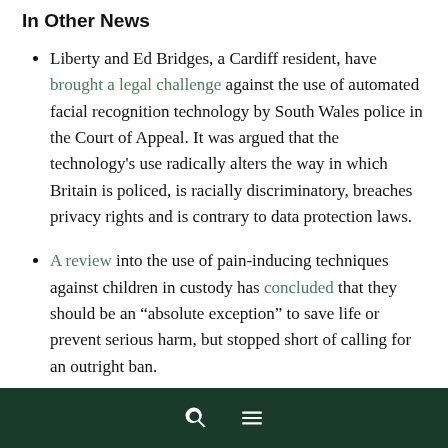In Other News
Liberty and Ed Bridges, a Cardiff resident, have brought a legal challenge against the use of automated facial recognition technology by South Wales police in the Court of Appeal. It was argued that the technology's use radically alters the way in which Britain is policed, is racially discriminatory, breaches privacy rights and is contrary to data protection laws.
A review into the use of pain-inducing techniques against children in custody has concluded that they should be an “absolute exception” to save life or prevent serious harm, but stopped short of calling for an outright ban.
Leilani Farha, the UN’s special rapporteur on adequate housing, has warned the UK government that its failure to replace dangerous cladding on buildings in the wake